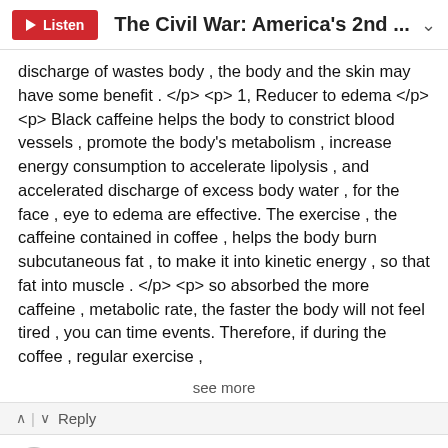Listen | The Civil War: America's 2nd ...
discharge of wastes body , the body and the skin may have some benefit . </p> <p> 1, Reducer to edema </p> <p> Black caffeine helps the body to constrict blood vessels , promote the body's metabolism , increase energy consumption to accelerate lipolysis , and accelerated discharge of excess body water , for the face , eye to edema are effective. The exercise , the caffeine contained in coffee , helps the body burn subcutaneous fat , to make it into kinetic energy , so that fat into muscle . </p> <p> so absorbed the more caffeine , metabolic rate, the faster the body will not feel tired , you can time events. Therefore, if during the coffee , regular exercise ,
see more
↑ | ↓   Reply
gjacobs507
11 years ago
Having read Shelby Foote's "Narative of the Civil War" I recall that Jefferson Davis frequently referred to the South's cause as "The Second American Revolution." By this he meant what he described as challenging oppressive rule of the...